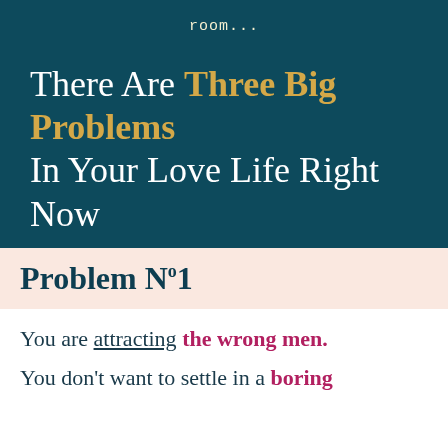room...
There Are Three Big Problems In Your Love Life Right Now
Problem N°1
You are attracting the wrong men.
You don't want to settle in a boring